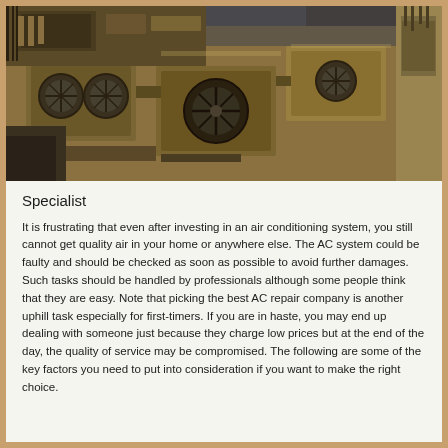[Figure (photo): Aerial view of rooftop HVAC units, large industrial air conditioning systems on top of urban buildings, photographed from above at an angle showing fans, ductwork, and mechanical equipment.]
Specialist
It is frustrating that even after investing in an air conditioning system, you still cannot get quality air in your home or anywhere else. The AC system could be faulty and should be checked as soon as possible to avoid further damages. Such tasks should be handled by professionals although some people think that they are easy. Note that picking the best AC repair company is another uphill task especially for first-timers. If you are in haste, you may end up dealing with someone just because they charge low prices but at the end of the day, the quality of service may be compromised. The following are some of the key factors you need to put into consideration if you want to make the right choice.